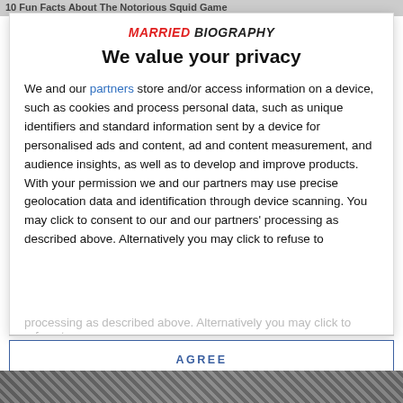10 Fun Facts About The Notorious Squid Game...
[Figure (logo): MARRIED BIOGRAPHY brand logo text]
We value your privacy
We and our partners store and/or access information on a device, such as cookies and process personal data, such as unique identifiers and standard information sent by a device for personalised ads and content, ad and content measurement, and audience insights, as well as to develop and improve products. With your permission we and our partners may use precise geolocation data and identification through device scanning. You may click to consent to our and our partners' processing as described above. Alternatively you may click to refuse to
AGREE
MORE OPTIONS
DISAGREE